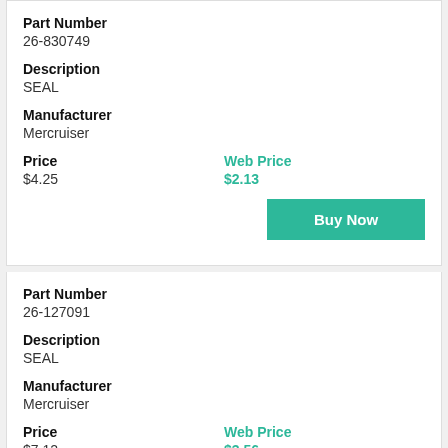Part Number
26-830749
Description
SEAL
Manufacturer
Mercruiser
Price
$4.25
Web Price
$2.13
Buy Now
Part Number
26-127091
Description
SEAL
Manufacturer
Mercruiser
Price
$7.12
Web Price
$3.56
Buy Now